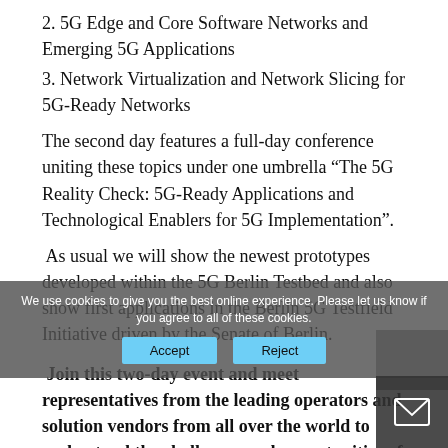2. 5G Edge and Core Software Networks and Emerging 5G Applications
3. Network Virtualization and Network Slicing for 5G-Ready Networks
The second day features a full-day conference uniting these topics under one umbrella “The 5G Reality Check: 5G-Ready Applications and Technological Enablers for 5G Implementation”.
As usual we will show the newest prototypes developed within the 5G Berlin Testbed and also show first applications in the Berlin 5G Testfield Initiative driven by the Senate of Berlin.
Join this two-day event and meet representatives from the leading operators and solution vendors from all over the world to understand the challenges and opportunities of these new enabling technologies for implementing innovative applications in various emerging domains.